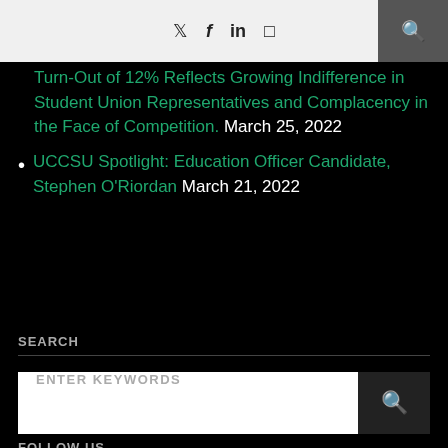Social media icons: Twitter, Facebook, LinkedIn, Instagram, Search
UCC Student Union Election Row: Turn-Out of 12% Reflects Growing Indifference in Student Union Representatives and Complacency in the Face of Competition. March 25, 2022
UCCSU Spotlight: Education Officer Candidate, Stephen O'Riordan March 21, 2022
SEARCH
ENTER KEYWORDS
FOLLOW US